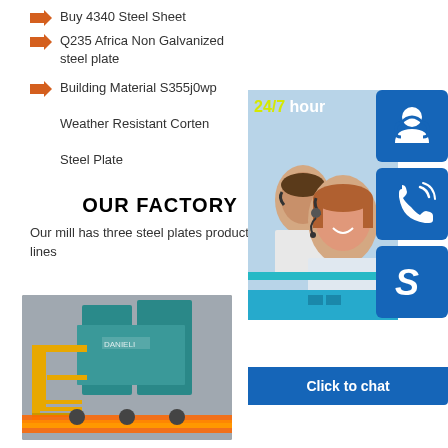Buy 4340 Steel Sheet
Q235 Africa Non Galvanized steel plate
Building Material S355j0wp Weather Resistant Corten Steel Plate
OUR FACTORY
Our mill has three steel plates production lines
[Figure (photo): Customer service representatives wearing headsets at workstations with 24/7 hour chat overlay and blue icon boxes for support, phone, and Skype with Click to chat button]
[Figure (photo): Steel mill factory floor showing industrial rolling equipment with glowing hot steel plate being processed]